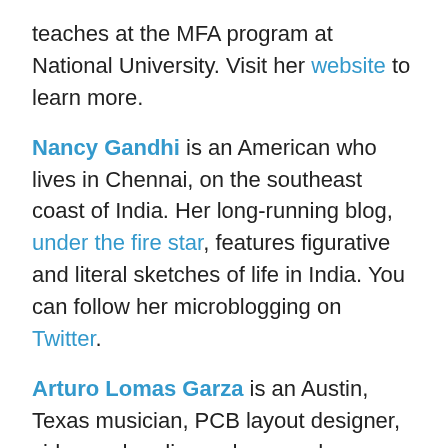teaches at the MFA program at National University. Visit her website to learn more.
Nancy Gandhi is an American who lives in Chennai, on the southeast coast of India. Her long-running blog, under the fire star, features figurative and literal sketches of life in India. You can follow her microblogging on Twitter.
Arturo Lomas Garza is an Austin, Texas musician, PCB layout designer, video and audio producer and photographer. He blogs with Katherine Durham Oldmixon at Katudi Artists Collaboration.
Alice George lives in Evanston, Illinois, and teaches as a visiting poet in area schools and libraries. She served as an Editor of RHINO for 10 years and is now on the Advisory Board of that award-wining magazine. Her first